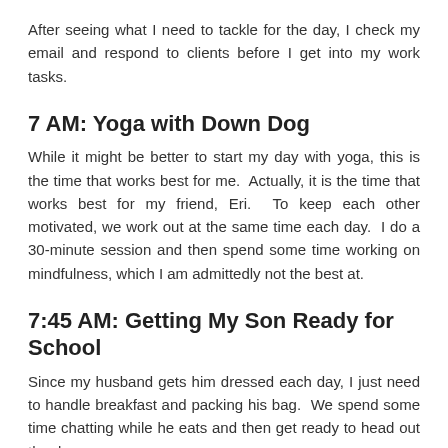After seeing what I need to tackle for the day, I check my email and respond to clients before I get into my work tasks.
7 AM: Yoga with Down Dog
While it might be better to start my day with yoga, this is the time that works best for me.  Actually, it is the time that works best for my friend, Eri.  To keep each other motivated, we work out at the same time each day.  I do a 30-minute session and then spend some time working on mindfulness, which I am admittedly not the best at.
7:45 AM: Getting My Son Ready for School
Since my husband gets him dressed each day, I just need to handle breakfast and packing his bag.  We spend some time chatting while he eats and then get ready to head out the door.
8 AM: The Walk to School